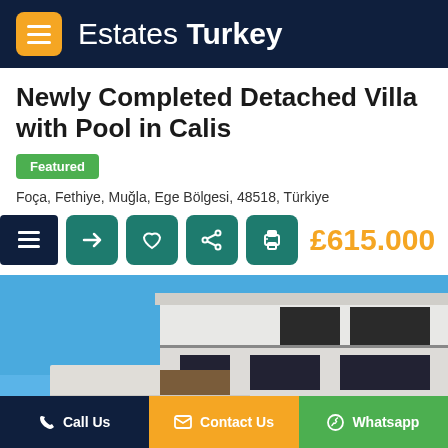Estates Turkey
Newly Completed Detached Villa with Pool in Calis
Featured
Foça, Fethiye, Muğla, Ege Bölgesi, 48518, Türkiye
£615.000
[Figure (photo): Exterior photograph of a modern white multi-storey detached villa with balconies and large windows against a clear blue sky]
Call Us   Contact Us   Whatsapp